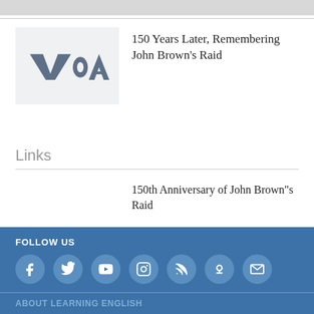[Figure (logo): VOA (Voice of America) logo placeholder image in light grey box]
150 Years Later, Remembering John Brown's Raid
Links
150th Anniversary of John Brown"s Raid
FOLLOW US — social icons: Facebook, Twitter, YouTube, Instagram, RSS, Podcast, Email — ABOUT LEARNING ENGLISH